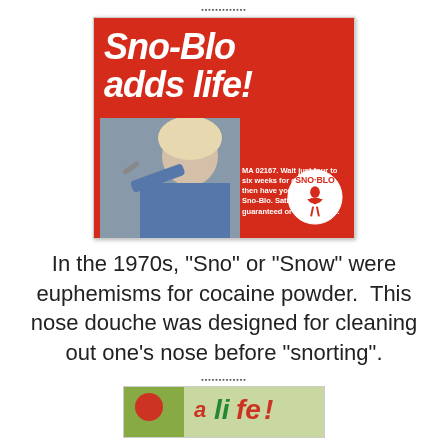▪▪▪▪▪▪▪▪▪▪▪▪▪
[Figure (photo): Vintage red advertisement for Sno-Blo nose douche product. Features large white italic script text 'Sno-Blo adds life!' at top. Below is body copy: 'Cool! Refreshing! Sanitary! Sno-Blo nose doucher is the civilized alternative to wet fingers. Sno-Blo costs only $19.95, postage prepaid. So send your check or money order today to HIGH ENTERPRISE, LTD., P.O. Box 44, CHESTNUT HILL, MA 02167. Wait just four to six weeks for delivery and then have yourself a real Sno-Blo. Satisfaction guaranteed or money back.' Photo of blonde woman using the product on the left. Sno-Blo logo circle with woman silhouette on lower right.]
In the 1970s, "Sno" or "Snow" were euphemisms for cocaine powder.  This nose douche was designed for cleaning out one's nose before "snorting".
▪▪▪▪▪▪▪▪▪▪▪▪▪
[Figure (photo): Partial view of another vintage advertisement at the bottom of the page, partially cut off.]